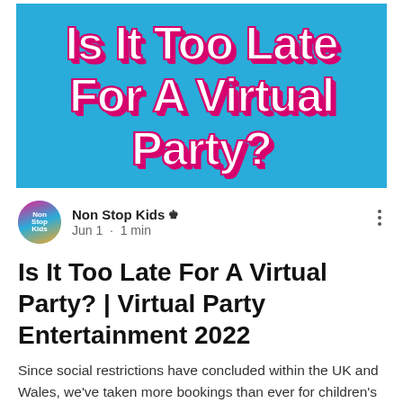[Figure (illustration): Blue banner image with bold white text reading 'Is It Too Late For A Virtual Party?' with pink/magenta drop shadow, on a bright blue background.]
Non Stop Kids ▲
Jun 1 · 1 min
Is It Too Late For A Virtual Party? | Virtual Party Entertainment 2022
Since social restrictions have concluded within the UK and Wales, we've taken more bookings than ever for children's entertainment. Everyone is very eager to